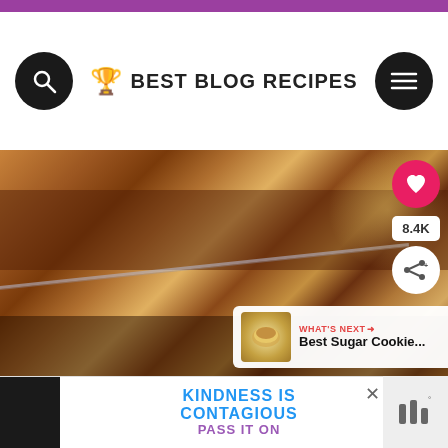BEST BLOG RECIPES
[Figure (photo): Close-up photo of sticky pecan cinnamon rolls or caramel pastry in a glass baking dish]
8.4K
WHAT'S NEXT → Best Sugar Cookie...
KINDNESS IS CONTAGIOUS PASS IT ON